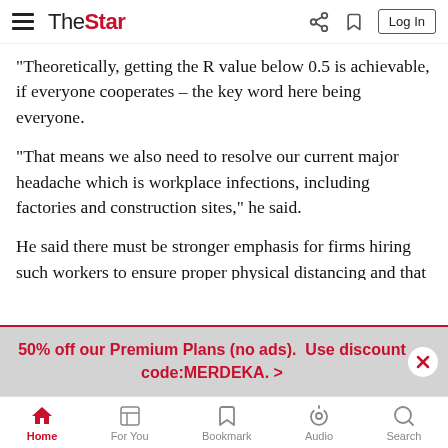The Star — navigation header with hamburger menu, logo, share, bookmark, and Log In button
“Theoretically, getting the R value below 0.5 is achievable, if everyone cooperates – the key word here being everyone.
“That means we also need to resolve our current major headache which is workplace infections, including factories and construction sites,” he said.
He said there must be stronger emphasis for firms hiring such workers to ensure proper physical distancing and that they are free of Covid-19.
“The message that needs to get across to employers is that
50% off our Premium Plans (no ads).  Use discount code:MERDEKA.  >
Home | For You | Bookmark | Audio | Search